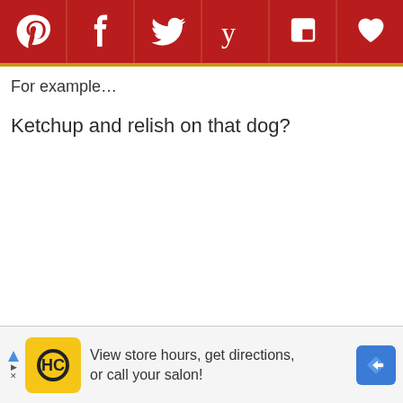[Figure (other): Social media sharing toolbar with icons for Pinterest, Facebook, Twitter, Yummly, Flipboard, and a heart/favorite button on a dark red background with gold bottom border]
For example…
Ketchup and relish on that dog?
[Figure (other): Advertisement banner: HC logo in yellow square, text 'View store hours, get directions, or call your salon!', blue diamond navigation arrow icon on right]